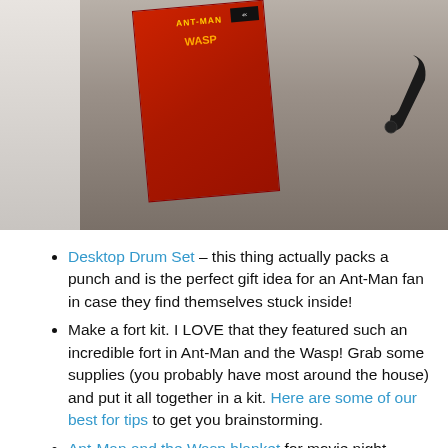[Figure (photo): Photo of Ant-Man and the Wasp movie box/packaging on a dark wooden surface, with what appears to be a dark mechanical arm or stand on the right side.]
Desktop Drum Set – this thing actually packs a punch and is the perfect gift idea for an Ant-Man fan in case they find themselves stuck inside!
Make a fort kit. I LOVE that they featured such an incredible fort in Ant-Man and the Wasp! Grab some supplies (you probably have most around the house) and put it all together in a kit. Here are some of our best for tips to get you brainstorming.
Ant-Man and the Wasp blanket for movie night.
An Ant Farm
Ant-Man Potato Head